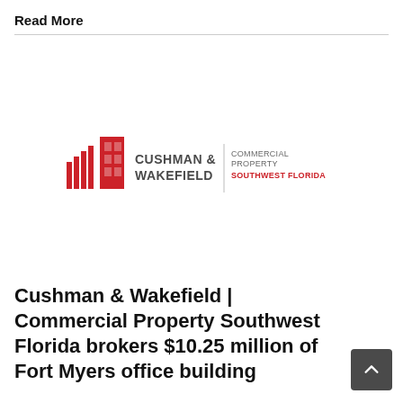Read More
[Figure (logo): Cushman & Wakefield | Commercial Property Southwest Florida logo. Red building icon on left, 'CUSHMAN & WAKEFIELD' in dark grey bold text, vertical divider, then 'COMMERCIAL PROPERTY' in grey and 'SOUTHWEST FLORIDA' in red.]
Cushman & Wakefield | Commercial Property Southwest Florida brokers $10.25 million of Fort Myers office building